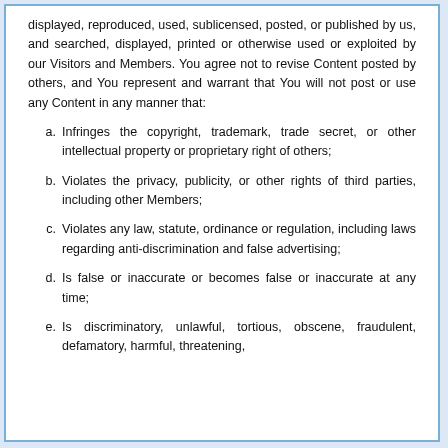displayed, reproduced, used, sublicensed, posted, or published by us, and searched, displayed, printed or otherwise used or exploited by our Visitors and Members. You agree not to revise Content posted by others, and You represent and warrant that You will not post or use any Content in any manner that:
a. Infringes the copyright, trademark, trade secret, or other intellectual property or proprietary right of others;
b. Violates the privacy, publicity, or other rights of third parties, including other Members;
c. Violates any law, statute, ordinance or regulation, including laws regarding anti-discrimination and false advertising;
d. Is false or inaccurate or becomes false or inaccurate at any time;
e. Is discriminatory, unlawful, tortious, obscene, fraudulent, defamatory, harmful, threatening,